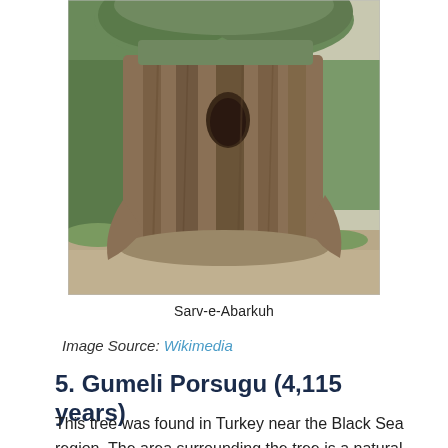[Figure (photo): Photograph of the ancient Sarv-e-Abarkuh tree, showing its massive gnarled trunk with twisted bark and dense foliage at the top, surrounded by a sandy ground area.]
Sarv-e-Abarkuh
Image Source: Wikimedia
5. Gumeli Porsugu (4,115 years)
This tree was found in Turkey near the Black Sea region. The area surrounding the tree is a natural monument meant to preserve the tree